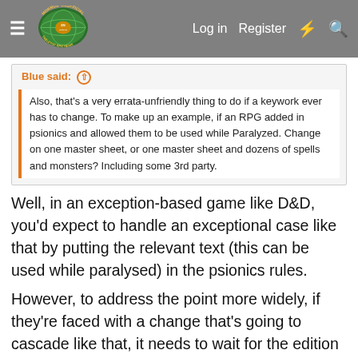Morrus' Unofficial Tabletop RPG News — Log in | Register
Blue said: Also, that's a very errata-unfriendly thing to do if a keywork ever has to change. To make up an example, if an RPG added in psionics and allowed them to be used while Paralyzed. Change on one master sheet, or one master sheet and dozens of spells and monsters? Including some 3rd party.
Well, in an exception-based game like D&D, you'd expect to handle an exceptional case like that by putting the relevant text (this can be used while paralysed) in the psionics rules.
However, to address the point more widely, if they're faced with a change that's going to cascade like that, it needs to wait for the edition change. And, honestly, anything that stops them thinking they can patch printed books as if they were software is a good thing - of the many things I disliked about 4e, the constantly creeping errata was the very worst… and 5e is increasingly going the same way. IMO.